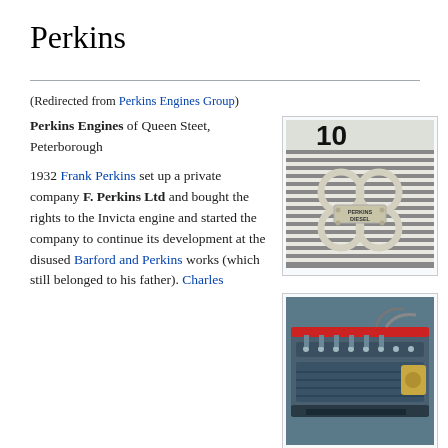Perkins
(Redirected from Perkins Engines Group)
Perkins Engines of Queen Steet, Peterborough

1932 Frank Perkins set up a private company F. Perkins Ltd and bought the rights to the Invicta engine and started the company to continue its development at the disused Barford and Perkins works (which still belonged to his father). Charles
[Figure (photo): Photo of a Perkins Diesel engine logo badge showing overlapping rings on a radiator grille, with 'PERKINS DIESEL' text on a central badge]
[Figure (photo): Photo of a Perkins diesel engine, showing blue/teal engine block with components visible from above]